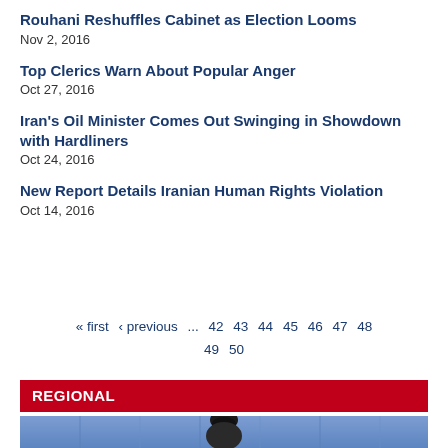Rouhani Reshuffles Cabinet as Election Looms
Nov 2, 2016
Top Clerics Warn About Popular Anger
Oct 27, 2016
Iran's Oil Minister Comes Out Swinging in Showdown with Hardliners
Oct 24, 2016
New Report Details Iranian Human Rights Violation
Oct 14, 2016
« first  ‹ previous  ...  42  43  44  45  46  47  48  49  50
REGIONAL
[Figure (photo): A cleric figure against a blue/purple curtain background]